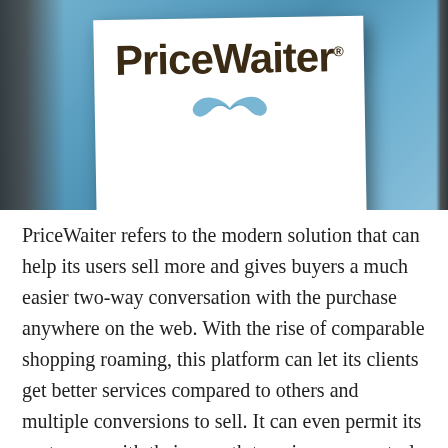[Figure (photo): Photo of a PriceWaiter branded card/sign with the company logo and a mustache icon, set against a blue background with dramatic lighting and shadows]
PriceWaiter refers to the modern solution that can help its users sell more and gives buyers a much easier two-way conversation with the purchase anywhere on the web. With the rise of comparable shopping roaming, this platform can let its clients get better services compared to others and multiple conversions to sell. It can even permit its customers with their growth to gain more control, time, revenue, and much more. PriceWaiter also supports eCommerce conversions and high-growth projects with many...